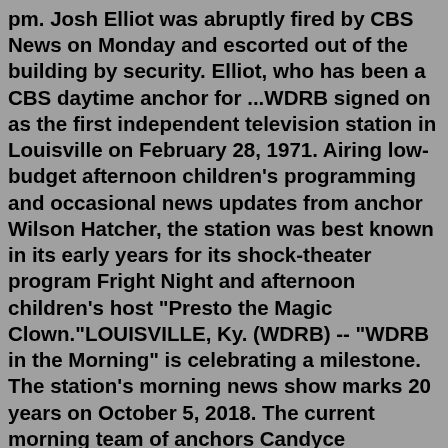pm. Josh Elliot was abruptly fired by CBS News on Monday and escorted out of the building by security. Elliot, who has been a CBS daytime anchor for ...WDRB signed on as the first independent television station in Louisville on February 28, 1971. Airing low-budget afternoon children's programming and occasional news updates from anchor Wilson Hatcher, the station was best known in its early years for its shock-theater program Fright Night and afternoon children's host "Presto the Magic Clown."LOUISVILLE, Ky. (WDRB) -- "WDRB in the Morning" is celebrating a milestone. The station's morning news show marks 20 years on October 5, 2018. The current morning team of anchors Candyce Clifft,...David Scott is an anchor at KAKE in Wichita, KS. Previously, he was an anchor for WDRB in Louisville, Kentucky, since 2007. Generic selectors. ...WDRB-Louisville, KY. 1999-2007 Anchor WANE-Fort Wayne, IN. 1996-1999 Anchor WHOI-Peoria, IL. 1994-1996 Anchor WPTZ, Plattsburgh, NY. Full Page...Send This To...Gallery....KMTB TV...2025